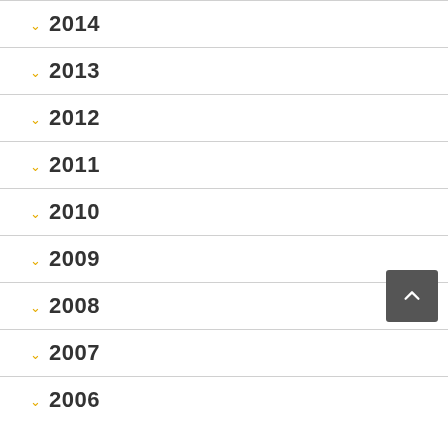2014
2013
2012
2011
2010
2009
2008
2007
2006